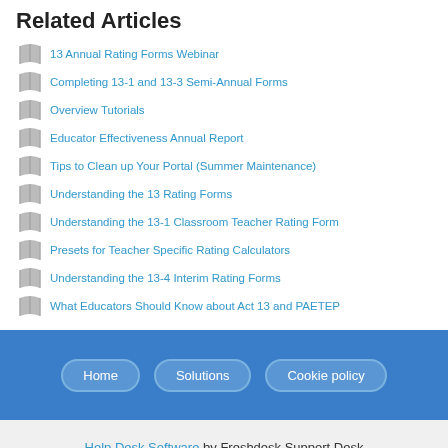Related Articles
13 Annual Rating Forms Webinar
Completing 13-1 and 13-3 Semi-Annual Forms
Overview Tutorials
Educator Effectiveness Annual Report
Tips to Clean up Your Portal (Summer Maintenance)
Understanding the 13 Rating Forms
Understanding the 13-1 Classroom Teacher Rating Form
Presets for Teacher Specific Rating Calculators
Understanding the 13-4 Interim Rating Forms
What Educators Should Know about Act 13 and PAETEP
Home | Solutions | Cookie policy
Help Desk Software by Freshdesk Support Desk